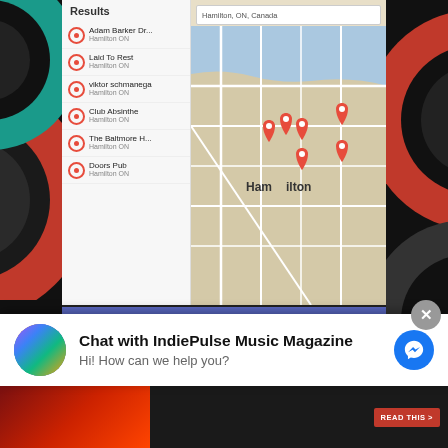[Figure (screenshot): Google Maps search results showing venues in Hamilton, ON, Canada with red location pins on map]
[Figure (infographic): Blue banner advertisement: The Gigfly Search Engine & The Community are now 100% FREE. REGISTER NOW AT GIGFLY.CA]
Our Hero, and Summertime Champion
Chat with IndiePulse Music Magazine
Hi! How can we help you?